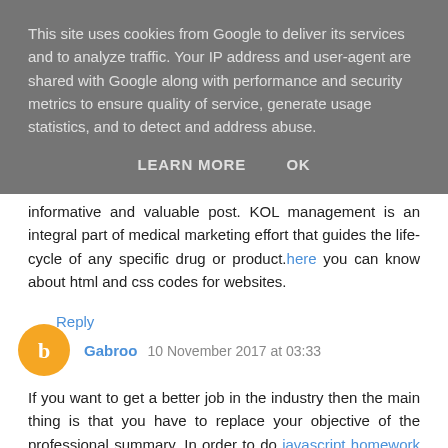This site uses cookies from Google to deliver its services and to analyze traffic. Your IP address and user-agent are shared with Google along with performance and security metrics to ensure quality of service, generate usage statistics, and to detect and address abuse.
LEARN MORE    OK
informative and valuable post. KOL management is an integral part of medical marketing effort that guides the life-cycle of any specific drug or product. here you can know about html and css codes for websites.
Reply
Gabroo  10 November 2017 at 03:33
If you want to get a better job in the industry then the main thing is that you have to replace your objective of the professional summary. In order to do javascript homework help you have to read all the article and write about your own views.